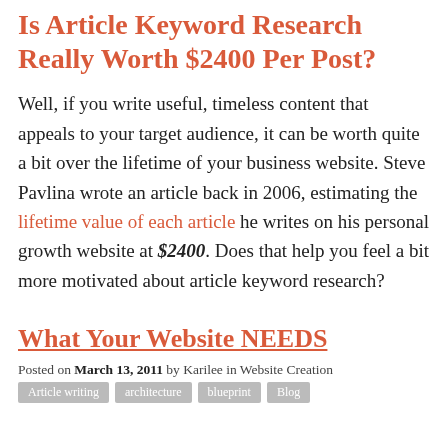Is Article Keyword Research Really Worth $2400 Per Post?
Well, if you write useful, timeless content that appeals to your target audience, it can be worth quite a bit over the lifetime of your business website. Steve Pavlina wrote an article back in 2006, estimating the lifetime value of each article he writes on his personal growth website at $2400. Does that help you feel a bit more motivated about article keyword research?
What Your Website NEEDS
Posted on March 13, 2011 by Karilee in Website Creation